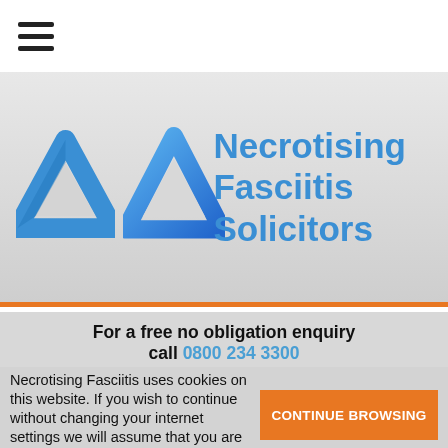[Figure (logo): Hamburger menu icon (three horizontal lines) in top-left white navbar]
[Figure (logo): Blue triangular loop logo with text 'Necrotising Fasciitis Solicitors' in blue on grey background with orange bottom border]
For a free no obligation enquiry call 0800 234 3300
Necrotising Fasciitis uses cookies on this website. If you wish to continue without changing your internet settings we will assume that you are happy to receive all cookies on this website. To find out what cookies are on this website, and how to change your settings, please visit our Cookie Policy. Learn More
CONTINUE BROWSING